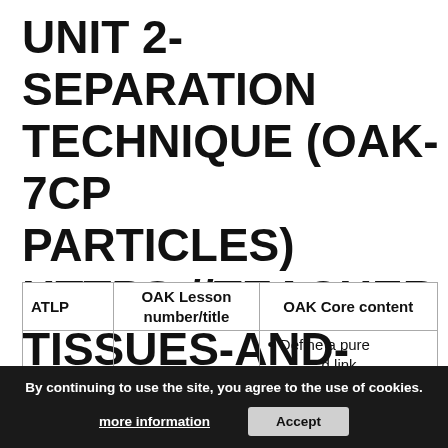UNIT 2- SEPARATION TECHNIQUE (OAK- 7CP PARTICLES) HTTPS://TEACHER TISSUES-AND-ORGANS-03B2
| ATLP | OAK Lesson number/title | OAK Core content |
| --- | --- | --- |
|  | 6 | Define a pure substance and link to melting and boiling points |
By continuing to use the site, you agree to the use of cookies. more information  Accept